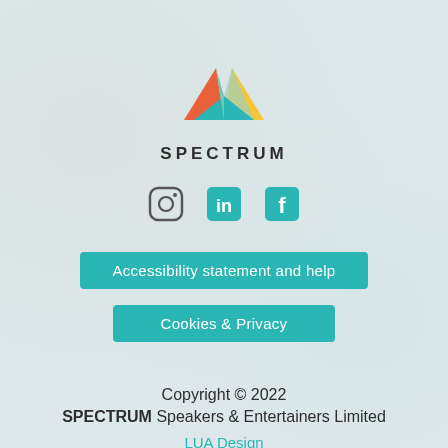[Figure (logo): Spectrum logo with geometric triangles in orange, yellow, teal, and light teal forming a mountain/gem shape, with the word SPECTRUM below in bold spaced letters]
[Figure (infographic): Row of three social media icons: Instagram (circle outline), LinkedIn (teal square with 'in'), Facebook (teal square with 'f')]
Accessibility statement and help
Cookies & Privacy
Copyright © 2022
SPECTRUM Speakers & Entertainers Limited
LUA Design